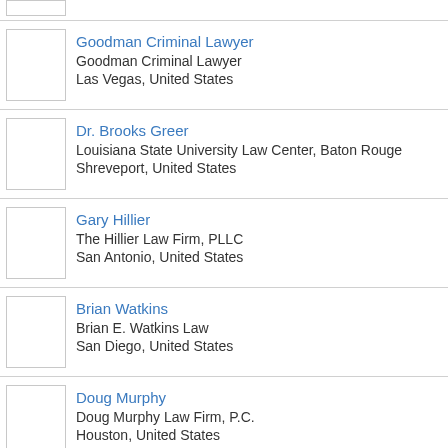Goodman Criminal Lawyer
Goodman Criminal Lawyer
Las Vegas, United States
Dr. Brooks Greer
Louisiana State University Law Center, Baton Rouge
Shreveport, United States
Gary Hillier
The Hillier Law Firm, PLLC
San Antonio, United States
Brian Watkins
Brian E. Watkins Law
San Diego, United States
Doug Murphy
Doug Murphy Law Firm, P.C.
Houston, United States